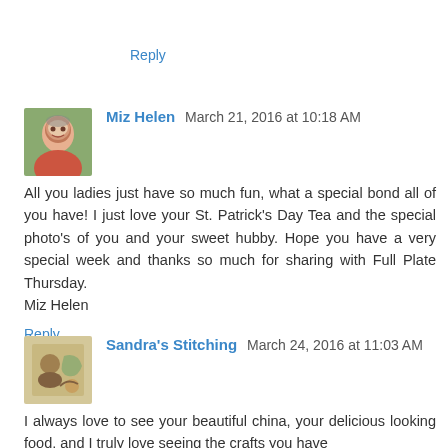Reply
[Figure (photo): Avatar photo of Miz Helen, older woman smiling outdoors]
Miz Helen  March 21, 2016 at 10:18 AM
All you ladies just have so much fun, what a special bond all of you have! I just love your St. Patrick's Day Tea and the special photo's of you and your sweet hubby. Hope you have a very special week and thanks so much for sharing with Full Plate Thursday.
Miz Helen
Reply
[Figure (photo): Avatar/thumbnail image for Sandra's Stitching blog]
Sandra's Stitching  March 24, 2016 at 11:03 AM
I always love to see your beautiful china, your delicious looking food, and I truly love seeing the crafts you have